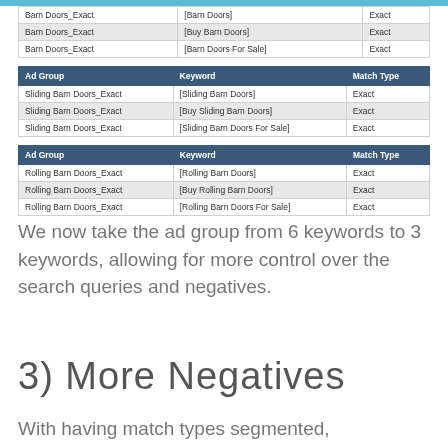| Ad Group | Keyword | Match Type |
| --- | --- | --- |
| Barn Doors_Exact | [Barn Doors] | Exact |
| Barn Doors_Exact | [Buy Barn Doors] | Exact |
| Barn Doors_Exact | [Barn Doors For Sale] | Exact |
| Ad Group | Keyword | Match Type |
| --- | --- | --- |
| Sliding Barn Doors_Exact | [Sliding Barn Doors] | Exact |
| Sliding Barn Doors_Exact | [Buy Sliding Barn Doors] | Exact |
| Sliding Barn Doors_Exact | [Sliding Barn Doors For Sale] | Exact |
| Ad Group | Keyword | Match Type |
| --- | --- | --- |
| Rolling Barn Doors_Exact | [Rolling Barn Doors] | Exact |
| Rolling Barn Doors_Exact | [Buy Rolling Barn Doors] | Exact |
| Rolling Barn Doors_Exact | [Rolling Barn Doors For Sale] | Exact |
We now take the ad group from 6 keywords to 3 keywords, allowing for more control over the search queries and negatives.
3)  More Negatives
With having match types segmented,